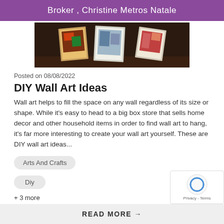Broker , Christine Metros Natale
[Figure (photo): Photo of wall art prints displayed on a dark shelf or mantle]
Posted on 08/08/2022
DIY Wall Art Ideas
Wall art helps to fill the space on any wall regardless of its size or shape. While it's easy to head to a big box store that sells home decor and other household items in order to find wall art to hang, it's far more interesting to create your wall art yourself. These are DIY wall art ideas...
Arts And Crafts
Diy
+ 3 more
READ MORE →